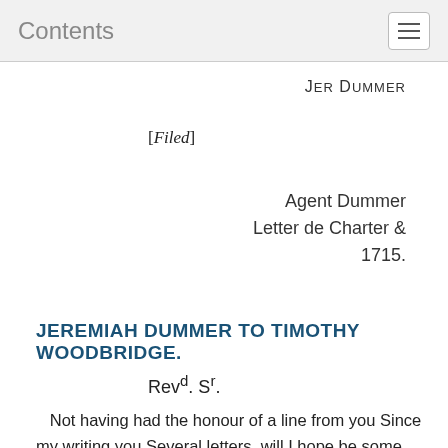Contents
Jer Dummer
[Filed]
Agent Dummer
Letter de Charter &
1715.
JEREMIAH DUMMER TO TIMOTHY WOODBRIDGE.
Revd. SR.
Not having had the honour of a line from you Since my writing you Several letters, will I hope be some apology if I am but Short now. You have with out doubt long before (p179) this heard how happy the Mafsachusetts is